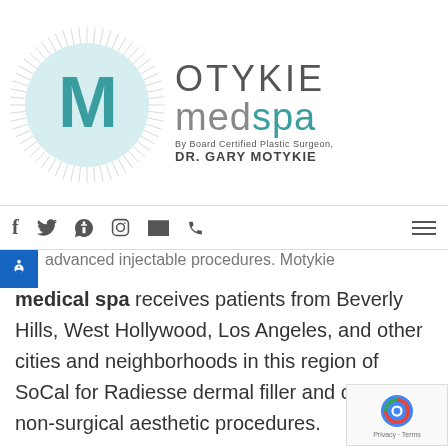[Figure (logo): Motykie MedSpa logo with circular radial design and teal M letter, text reads MOTYKIE medspa By Board Certified Plastic Surgeon, DR. GARY MOTYKIE]
advanced injectable procedures. Motykie medical spa receives patients from Beverly Hills, West Hollywood, Los Angeles, and other cities and neighborhoods in this region of SoCal for Radiesse dermal filler and other non-surgical aesthetic procedures.